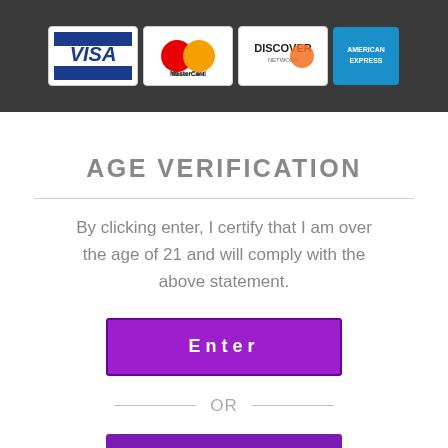[Figure (illustration): Header bar with credit card logos: VISA, MasterCard, Discover Network, and American Express on a dark gray background.]
AGE VERIFICATION
By clicking enter, I certify that I am over the age of 21 and will comply with the above statement.
Enter
OR